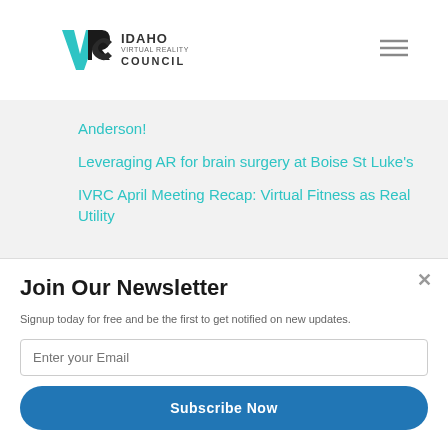[Figure (logo): Idaho Virtual Reality Council logo with VRC initials and text]
Anderson!
Leveraging AR for brain surgery at Boise St Luke's
IVRC April Meeting Recap: Virtual Fitness as Real Utility
January 2021
Join Our Newsletter
Signup today for free and be the first to get notified on new updates.
Enter your Email
Subscribe Now